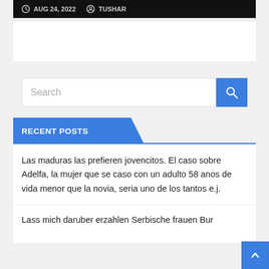AUG 24, 2022  TUSHAR
[Figure (screenshot): Search bar with blue search button]
RECENT POSTS
Las maduras las prefieren jovencitos. El caso sobre Adelfa, la mujer que se caso con un adulto 58 anos de vida menor que la novia, seria uno de los tantos e.j.
Lass mich daruber erzahlen Serbische frauen Bur...